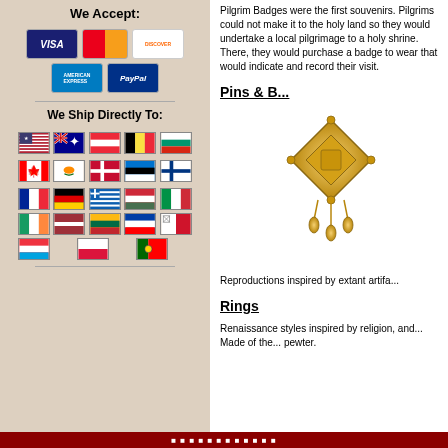We Accept:
[Figure (illustration): Payment method icons: Visa, MasterCard, Discover, American Express, PayPal]
We Ship Directly To:
[Figure (illustration): Grid of country flags: USA, Australia, Austria, Belgium, Bulgaria, Canada, Cyprus, Denmark, Estonia, Finland, France, Germany, Greece, Hungary, Italy, Ireland, Latvia, Lithuania, Slovenia, Malta, Luxembourg, Poland, Portugal]
Pilgrim Badges were the first souvenirs. Pilgrims could not make it to the holy land so they would undertake a local pilgrimage to a holy shrine. There, they would purchase a badge to wear that would indicate and record their visit.
Pins & B...
[Figure (photo): Gold ornate brooch/pilgrim badge with dangling drops]
Reproductions inspired by extant artifa...
Rings
Renaissance styles inspired by religion, and... Made of the... pewter.